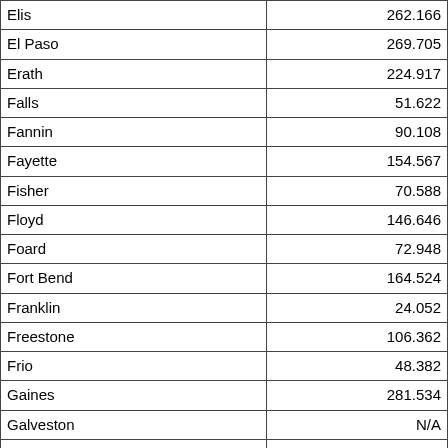| County | Value |
| --- | --- |
| Elis | 262.166 |
| El Paso | 269.705 |
| Erath | 224.917 |
| Falls | 51.622 |
| Fannin | 90.108 |
| Fayette | 154.567 |
| Fisher | 70.588 |
| Floyd | 146.646 |
| Foard | 72.948 |
| Fort Bend | 164.524 |
| Franklin | 24.052 |
| Freestone | 106.362 |
| Frio | 48.382 |
| Gaines | 281.534 |
| Galveston | N/A |
| Garza | 226.602 |
| Gillespie | 256.101 |
| Glasscock | 40.624 |
| Goliad | 162.257 |